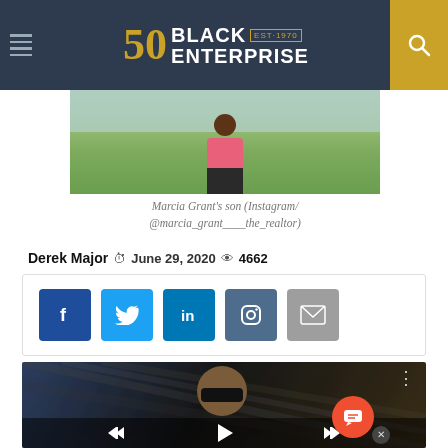Black Enterprise — EST·1970
[Figure (photo): Marcia Grant's son standing outdoors on grass, wearing pink top and dark bottoms]
Marcia Grant's son (Instagram/@marcia_grant____the_realtor)
Derek Major  June 29, 2020  4662
[Figure (screenshot): Social media share buttons: Facebook, Twitter, LinkedIn, Instagram, Email]
[Figure (photo): Video player showing a man wearing sunglasses, with playback controls at the bottom]